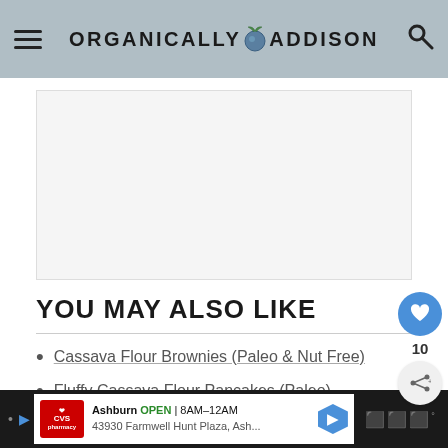ORGANICALLY ADDISON
[Figure (other): Advertisement placeholder — white/light gray rectangle]
YOU MAY ALSO LIKE
Cassava Flour Brownies (Paleo & Nut Free)
Fluffy Cassava Flour Pancakes (Paleo)
Cassava Flour Banana Bread
[Figure (other): CVS Pharmacy advertisement banner — Ashburn OPEN 8AM-12AM, 43930 Farmwell Hunt Plaza, Ash...]